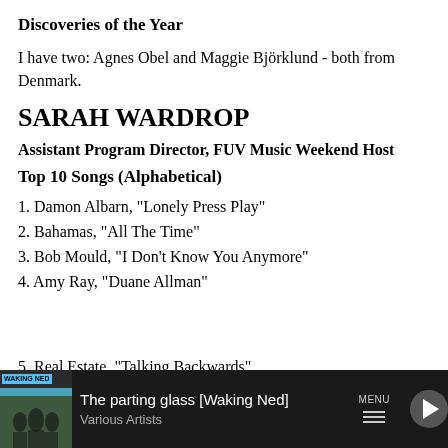Discoveries of the Year
I have two: Agnes Obel and Maggie Björklund - both from Denmark.
SARAH WARDROP
Assistant Program Director, FUV Music Weekend Host
Top 10 Songs (Alphabetical)
1. Damon Albarn, "Lonely Press Play"
2. Bahamas, "All The Time"
3. Bob Mould, "I Don't Know You Anymore"
4. Amy Ray, "Duane Allman"
5. Real Estate, "Talking Backwards"
[Figure (screenshot): Media player bar at bottom showing 'The parting glass [Waking Ned]' by Various Artists with Waking Ned album art, MENU button, and play button]